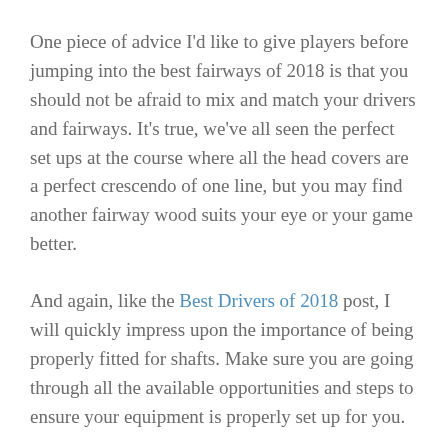One piece of advice I'd like to give players before jumping into the best fairways of 2018 is that you should not be afraid to mix and match your drivers and fairways. It's true, we've all seen the perfect set ups at the course where all the head covers are a perfect crescendo of one line, but you may find another fairway wood suits your eye or your game better.
And again, like the Best Drivers of 2018 post, I will quickly impress upon the importance of being properly fitted for shafts. Make sure you are going through all the available opportunities and steps to ensure your equipment is properly set up for you.
Tour Edge CBX